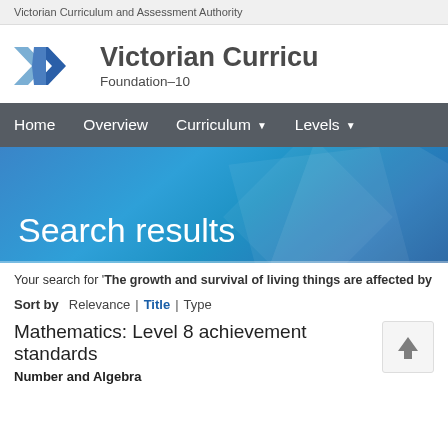Victorian Curriculum and Assessment Authority
[Figure (logo): Victorian Curriculum Foundation–10 logo with stylized blue V checkmark/arrow icon]
Search results
Your search for 'The growth and survival of living things are affected by
Sort by  Relevance | Title | Type
Mathematics: Level 8 achievement standards
Number and Algebra